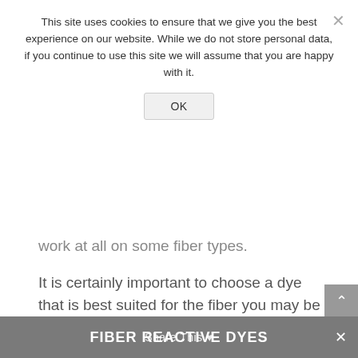This site uses cookies to ensure that we give you the best experience on our website. While we do not store personal data, if you continue to use this site we will assume that you are happy with it.
OK
work at all on some fiber types.
It is certainly important to choose a dye that is best suited for the fiber you may be working with but keeps in mind some dyes can be more toxic or harmful to the environment so keep this in mind when making your choice.
FIBER REACTIVE DYES